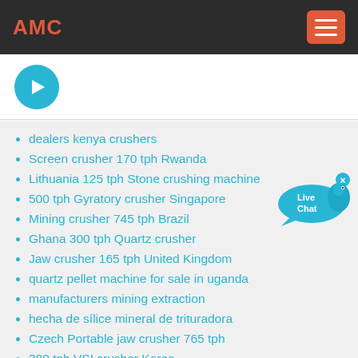AMC
[Figure (illustration): Circular cyan arrow icon (right-pointing arrow in a teal/cyan circle)]
dealers kenya crushers
Screen crusher 170 tph Rwanda
Lithuania 125 tph Stone crushing machine
500 tph Gyratory crusher Singapore
Mining crusher 745 tph Brazil
Ghana 300 tph Quartz crusher
Jaw crusher 165 tph United Kingdom
quartz pellet machine for sale in uganda
manufacturers mining extraction
hecha de sílice mineral de trituradora
Czech Portable jaw crusher 765 tph
380 tph VSI crusher Korea
Chile 70 tph Rock crusher
Granite crusher 45 tph Equatorial Guinea
[Figure (illustration): Live Chat bubble icon with a fish/bird graphic and a close (x) button]